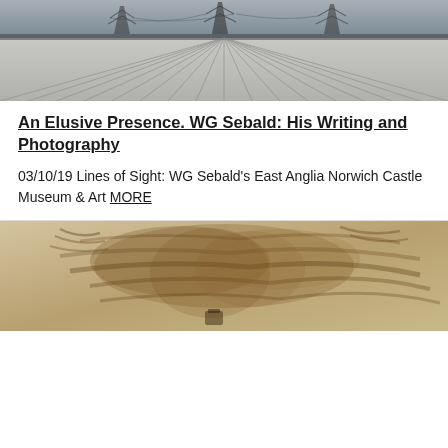[Figure (photo): Aerial/wide-angle photograph of a snow-dusted agricultural field with plastic sheeting rows converging to a vanishing point, with electricity pylons in the background under an overcast sky.]
An Elusive Presence. WG Sebald: His Writing and Photography
03/10/19 Lines of Sight: WG Sebald's East Anglia Norwich Castle Museum & Art MORE
[Figure (photo): A sepia-toned or brown-wash artwork/painting showing what appears to be an abstract or loosely rendered figure or animal form with an indistinct object at the bottom center.]